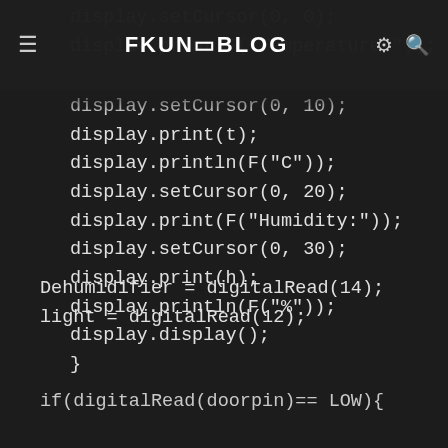☰  FKUN❏BLOG  ⚙ 🔍
display.setCursor(0, 0);
display.print(F("Temperature:"));
display.setCursor(0, 10);
display.print(t);
display.println(F("C"));
display.setCursor(0, 20);
display.print(F("Humidity:"));
display.setCursor(0, 30);
display.print(h);
display.println(F("%"));
display.display();
}
Dehumidifier = digitalRead(14);
light = digitalRead(12);
if(digitalRead(doorpin)== LOW){